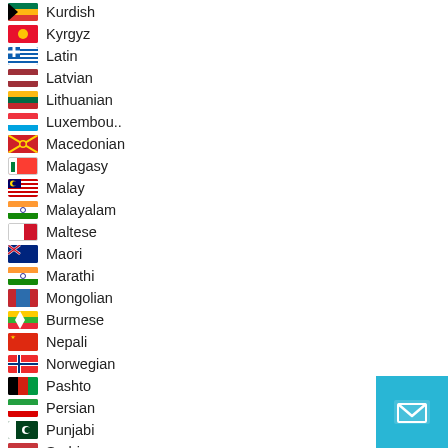Kurdish
Kyrgyz
Latin
Latvian
Lithuanian
Luxembou..
Macedonian
Malagasy
Malay
Malayalam
Maltese
Maori
Marathi
Mongolian
Burmese
Nepali
Norwegian
Pashto
Persian
Punjabi
Serbian